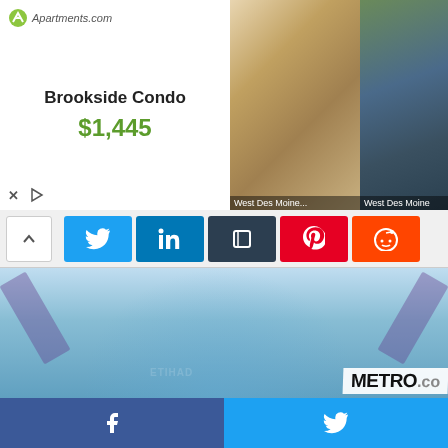[Figure (screenshot): Apartments.com advertisement banner for Brookside Condo showing interior and aerial photos, priced at $1,445 in West Des Moines]
[Figure (screenshot): Social media share bar with Twitter (blue), LinkedIn (blue), dark button, Pinterest (red), and Reddit (orange-red) share buttons, with a chevron-up arrow]
[Figure (photo): Manchester City footballer in light blue Etihad Airways kit holding the Premier League trophy aloft, smiling at the camera. Metro.co watermark in bottom right corner.]
[Figure (screenshot): Bottom bar with Facebook (dark blue) and Twitter (light blue) share buttons]